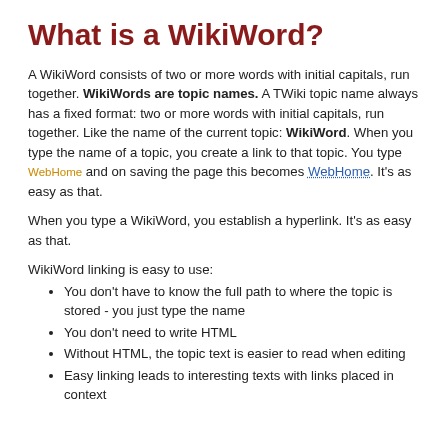What is a WikiWord?
A WikiWord consists of two or more words with initial capitals, run together. WikiWords are topic names. A TWiki topic name always has a fixed format: two or more words with initial capitals, run together. Like the name of the current topic: WikiWord. When you type the name of a topic, you create a link to that topic. You type WebHome and on saving the page this becomes WebHome. It's as easy as that.
When you type a WikiWord, you establish a hyperlink. It's as easy as that.
WikiWord linking is easy to use:
You don't have to know the full path to where the topic is stored - you just type the name
You don't need to write HTML
Without HTML, the topic text is easier to read when editing
Easy linking leads to interesting texts with links placed in context